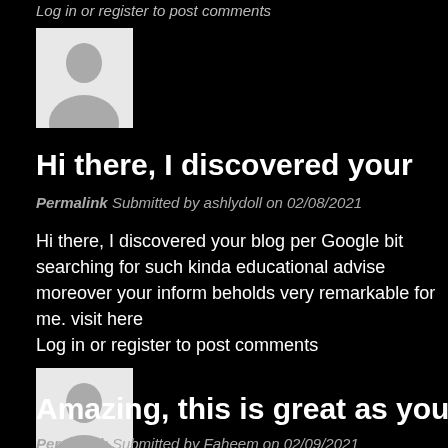Log in or register to post comments
[Figure (illustration): Default user avatar placeholder - silhouette of a person on light gray background]
Hi there, I discovered your
Permalink Submitted by ashlydoll on 02/08/2021
Hi there, I discovered your blog per Google bit searching for such kinda educational advise moreover your inform beholds very remarkable for me. visit here
Log in or register to post comments
[Figure (illustration): Default user avatar placeholder - silhouette of a person on light gray background]
Amazing, this is great as you
Permalink Submitted by Faheem on 02/09/2021